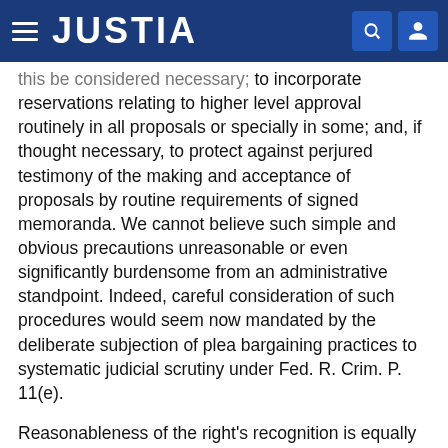JUSTIA
this be considered necessary; to incorporate reservations relating to higher level approval routinely in all proposals or specially in some; and, if thought necessary, to protect against perjured testimony of the making and acceptance of proposals by routine requirements of signed memoranda. We cannot believe such simple and obvious precautions unreasonable or even significantly burdensome from an administrative standpoint. Indeed, careful consideration of such procedures would seem now mandated by the deliberate subjection of plea bargaining practices to systematic judicial scrutiny under Fed. R. Crim. P. 11(e).
Reasonableness of the right's recognition is equally compelled by a consideration of the unreasonableness of permitting the indiscriminate withdrawal of plea proposals at the stage attempted in this case. There is